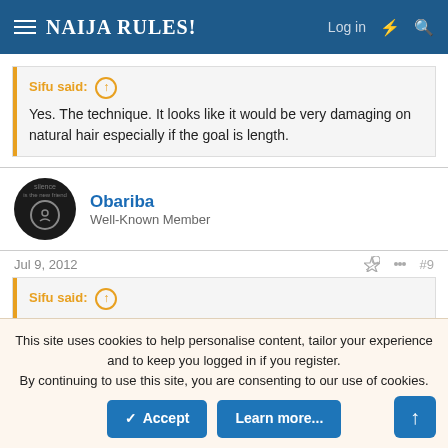NAIJA RULES! — Log in
Sifu said: ↑
Yes. The technique. It looks like it would be very damaging on natural hair especially if the goal is length.
Obariba
Well-Known Member
Jul 9, 2012  #9
Sifu said: ↑
This site uses cookies to help personalise content, tailor your experience and to keep you logged in if you register.
By continuing to use this site, you are consenting to our use of cookies.
Accept   Learn more...